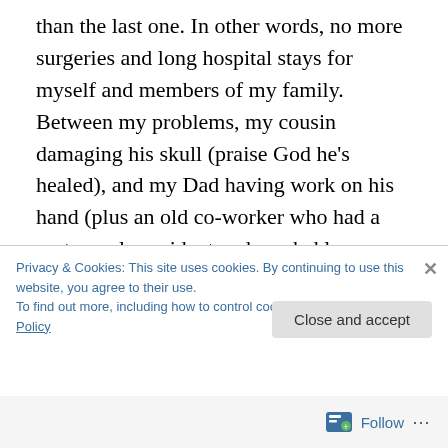than the last one. In other words, no more surgeries and long hospital stays for myself and members of my family. Between my problems, my cousin damaging his skull (praise God he's healed), and my Dad having work on his hand (plus an old co-worker who had a motorcycle accident and needed leg surgery and my neighbor who lost a foot), one of my best friends losing his mom to the same cancer that killed his dad years earlier, and one of my reviewer colleagues whose stepfather died in a car accident, this has been a horrible year even if you don't follow politics and celebrities. I'm praying for a better 2017.
Privacy & Cookies: This site uses cookies. By continuing to use this website, you agree to their use.
To find out more, including how to control cookies, see here: Cookie Policy
Close and accept
Follow